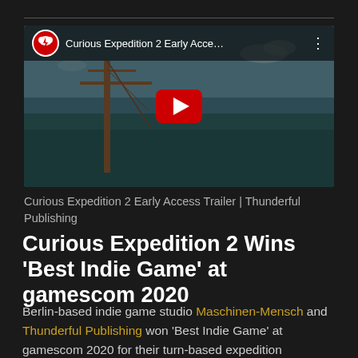[Figure (screenshot): YouTube video thumbnail for 'Curious Expedition 2 Early Access Trailer | Thunderful Publishing' showing a character on a ship with the YouTube play button overlay and video title bar at top.]
Curious Expedition 2 Early Access Trailer | Thunderful Publishing
Curious Expedition 2 Wins ‘Best Indie Game’ at gamescom 2020
Berlin-based indie game studio Maschinen-Mensch and Thunderful Publishing won ‘Best Indie Game’ at gamescom 2020 for their turn-based expedition adventure sim, Curious Expedition 2. The nomination from more